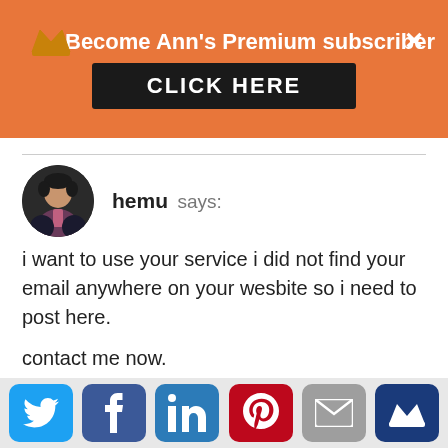Become Ann's Premium subscriber
CLICK HERE
hemu says:
i want to use your service i did not find your email anywhere on your wesbite so i need to post here.

contact me now.

Hemu
[Figure (illustration): Row of social media share buttons: Twitter (blue bird), Facebook (dark blue f), LinkedIn (blue in), Pinterest (red P), Email (grey envelope), Crown (dark blue crown)]